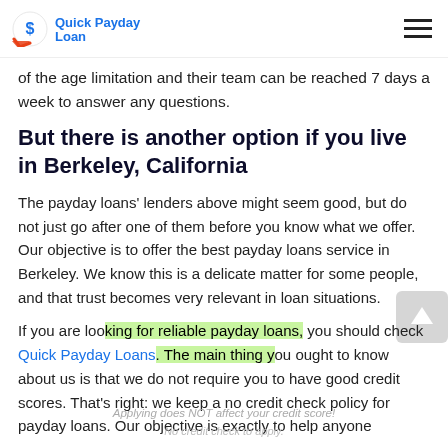Quick Payday Loan
of the age limitation and their team can be reached 7 days a week to answer any questions.
But there is another option if you live in Berkeley, California
The payday loans' lenders above might seem good, but do not just go after one of them before you know what we offer. Our objective is to offer the best payday loans service in Berkeley. We know this is a delicate matter for some people, and that trust becomes very relevant in loan situations.
If you are looking for reliable payday loans, you should check Quick Payday Loans. The main thing you ought to know about us is that we do not require you to have good credit scores. That's right: we keep a no credit check policy for payday loans. Our objective is exactly to help anyone